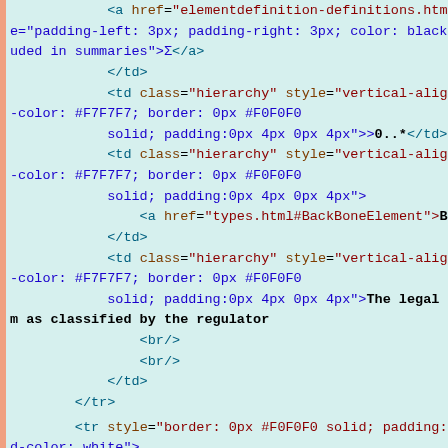Code snippet showing HTML table structure with anchor tags, td elements with hierarchy class and inline styles, including BackboneElement link and legal status text, plus tr element with border styling.